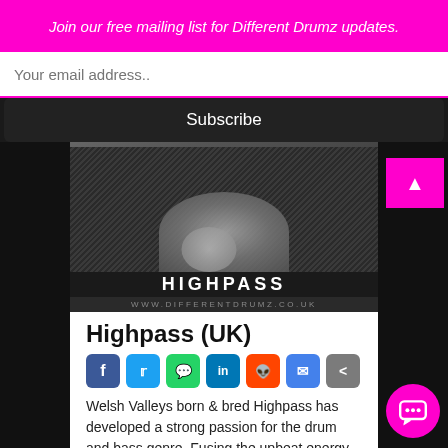Join our free mailing list for Different Drumz updates.
Your email address..
Subscribe
[Figure (photo): Highpass DJ photo in black and white, with HIGHPASS text and www.differentdrumz.co.uk URL below]
Highpass (UK)
Social sharing icons: Facebook, Twitter, WhatsApp, LinkedIn, Reddit, Email, Share
Welsh Valleys born & bred Highpass has developed a strong passion for the drum and bass genre. Fusing the upbeat energy of drum and bass with smooth atmospheric sounds and pianos highpass ...